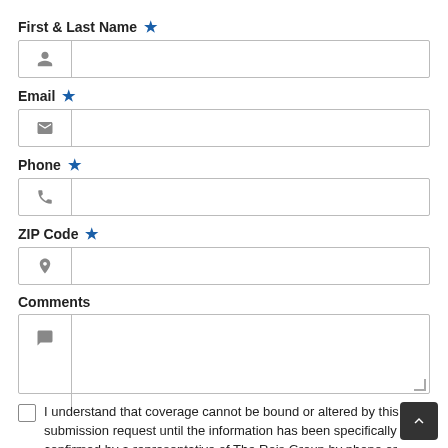First & Last Name *
[Figure (screenshot): Form input field for First & Last Name with person icon]
Email *
[Figure (screenshot): Form input field for Email with envelope icon]
Phone *
[Figure (screenshot): Form input field for Phone with phone icon]
ZIP Code *
[Figure (screenshot): Form input field for ZIP Code with location pin icon]
Comments
[Figure (screenshot): Form textarea for Comments with speech bubble icon]
I understand that coverage cannot be bound or altered by this submission request until the information has been specifically confirmed by a representative of The Reis Group by phone or email.